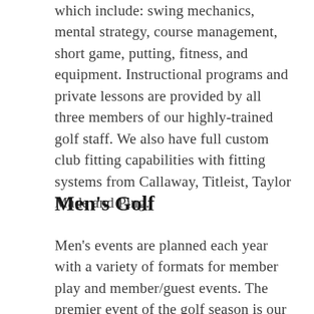which include: swing mechanics, mental strategy, course management, short game, putting, fitness, and equipment. Instructional programs and private lessons are provided by all three members of our highly-trained golf staff. We also have full custom club fitting capabilities with fitting systems from Callaway, Titleist, Taylor Made and Ping.
Men's Golf
Men's events are planned each year with a variety of formats for member play and member/guest events. The premier event of the golf season is our annual Men's Invitational which includes 60 member-guest teams each year. This event includes three days of competition along with nightly social events with spouses and significant others that are sure to